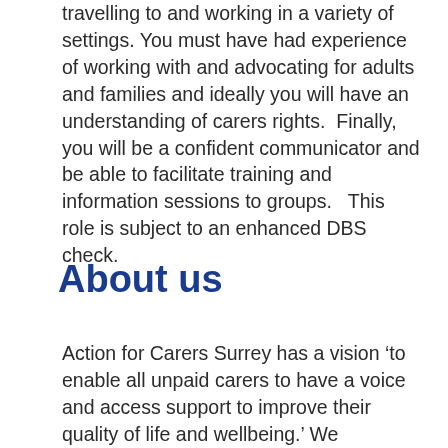travelling to and working in a variety of settings. You must have had experience of working with and advocating for adults and families and ideally you will have an understanding of carers rights.  Finally, you will be a confident communicator and be able to facilitate training and information sessions to groups.   This role is subject to an enhanced DBS check.
About us
Action for Carers Surrey has a vision ‘to enable all unpaid carers to have a voice and access support to improve their quality of life and wellbeing.’ We